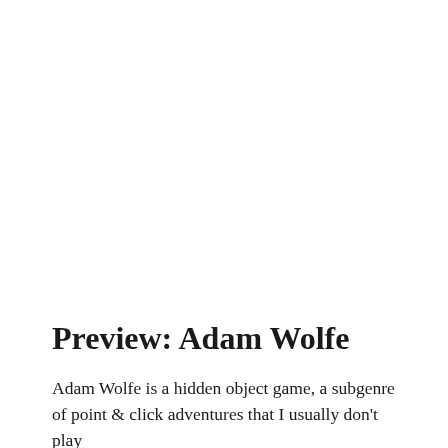Preview: Adam Wolfe
Adam Wolfe is a hidden object game, a subgenre of point & click adventures that I usually don't play